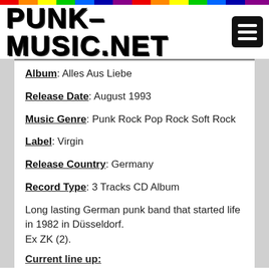[Figure (logo): PUNK-MUSIC.NET logo with hamburger menu icon]
Album: Alles Aus Liebe
Release Date: August 1993
Music Genre: Punk Rock Pop Rock Soft Rock
Label: Virgin
Release Country: Germany
Record Type: 3 Tracks CD Album
Long lasting German punk band that started life in 1982 in Düsseldorf. Ex ZK (2).
Current line up: